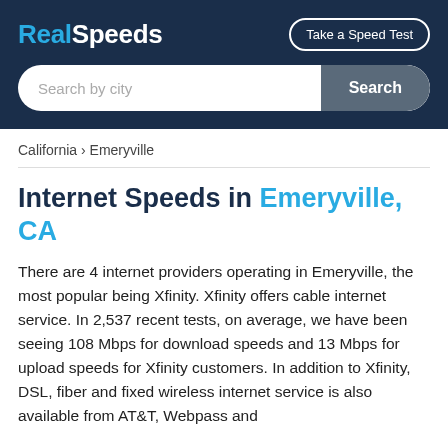RealSpeeds | Take a Speed Test
Search by city
California › Emeryville
Internet Speeds in Emeryville, CA
There are 4 internet providers operating in Emeryville, the most popular being Xfinity. Xfinity offers cable internet service. In 2,537 recent tests, on average, we have been seeing 108 Mbps for download speeds and 13 Mbps for upload speeds for Xfinity customers. In addition to Xfinity, DSL, fiber and fixed wireless internet service is also available from AT&T, Webpass and